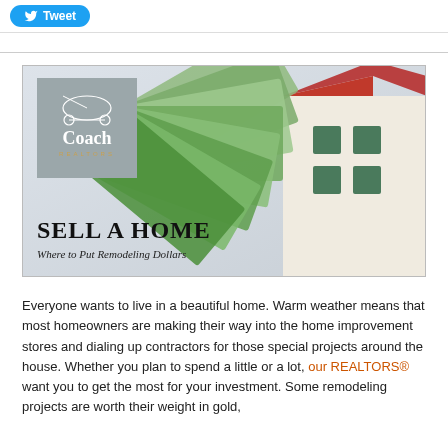[Figure (other): Tweet button with Twitter bird icon on a blue pill-shaped button]
[Figure (illustration): Coach Realtors promotional banner image showing a model house with fanned dollar bills and text 'Sell a Home – Where to Put Remodeling Dollars']
Everyone wants to live in a beautiful home. Warm weather means that most homeowners are making their way into the home improvement stores and dialing up contractors for those special projects around the house. Whether you plan to spend a little or a lot, our REALTORS® want you to get the most for your investment. Some remodeling projects are worth their weight in gold,